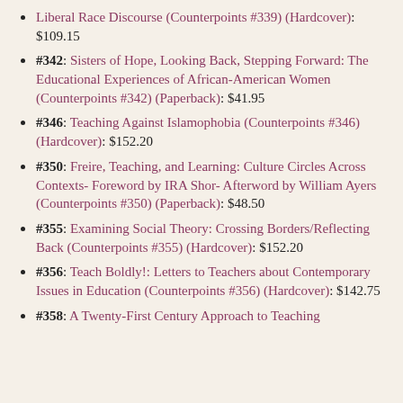Liberal Race Discourse (Counterpoints #339) (Hardcover): $109.15
#342: Sisters of Hope, Looking Back, Stepping Forward: The Educational Experiences of African-American Women (Counterpoints #342) (Paperback): $41.95
#346: Teaching Against Islamophobia (Counterpoints #346) (Hardcover): $152.20
#350: Freire, Teaching, and Learning: Culture Circles Across Contexts- Foreword by IRA Shor- Afterword by William Ayers (Counterpoints #350) (Paperback): $48.50
#355: Examining Social Theory: Crossing Borders/Reflecting Back (Counterpoints #355) (Hardcover): $152.20
#356: Teach Boldly!: Letters to Teachers about Contemporary Issues in Education (Counterpoints #356) (Hardcover): $142.75
#358: A Twenty-First Century Approach to Teaching